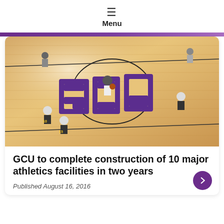Menu
[Figure (photo): Aerial view of a basketball court with a large GCU (Grand Canyon University) logo at center court, players visible during a game]
GCU to complete construction of 10 major athletics facilities in two years
Published August 16, 2016